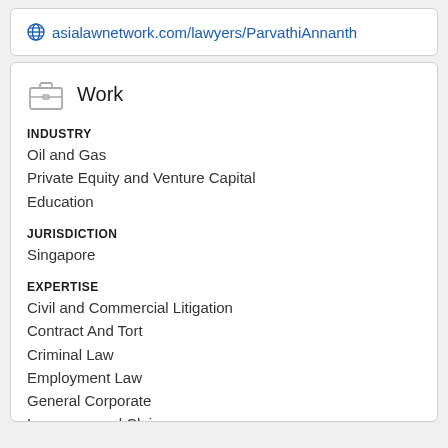asialawnetwork.com/lawyers/ParvathiAnnanth
Work
INDUSTRY
Oil and Gas
Private Equity and Venture Capital
Education
JURISDICTION
Singapore
EXPERTISE
Civil and Commercial Litigation
Contract And Tort
Criminal Law
Employment Law
General Corporate
Insurance and Claims
Matrimonial and Family Law
Mediation
Mergers and Acquisitions